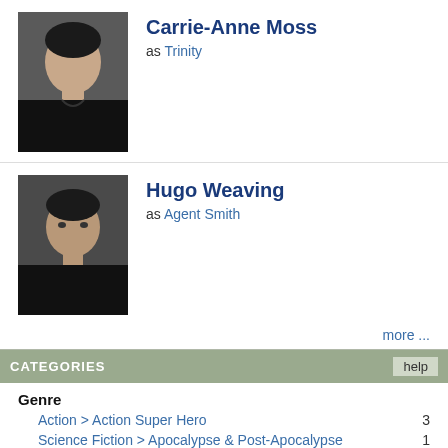[Figure (photo): Headshot photo of Carrie-Anne Moss]
Carrie-Anne Moss as Trinity
[Figure (photo): Headshot photo of Hugo Weaving]
Hugo Weaving as Agent Smith
more ...
CATEGORIES
Genre
Action > Action Super Hero   3
Science Fiction > Apocalypse & Post-Apocalypse   1
Science Fiction > Cyberpunk   3
Source
Literature > Comic   1
Literature > Oral Tradition   1
Literature > children's book   1
Class
Episode Film   2
Standing
Academy Award Winner   4